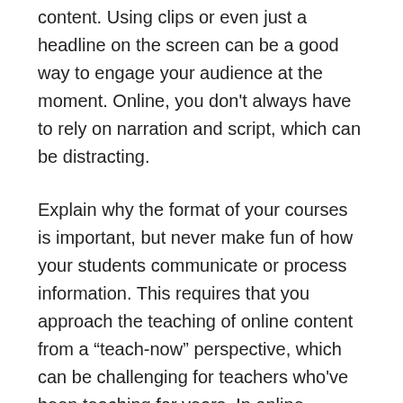content. Using clips or even just a headline on the screen can be a good way to engage your audience at the moment. Online, you don't always have to rely on narration and script, which can be distracting.
Explain why the format of your courses is important, but never make fun of how your students communicate or process information. This requires that you approach the teaching of online content from a “teach-now” perspective, which can be challenging for teachers who've been teaching for years. In online courses, especially, the teacher must avoid resorting to coercive methods, such as time limits or timekeeping.